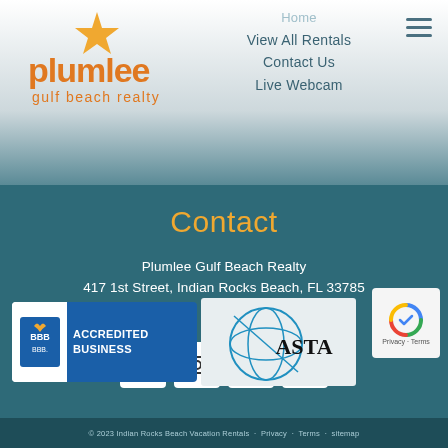[Figure (logo): Plumlee Gulf Beach Realty logo with orange star and orange text]
Home
View All Rentals
Contact Us
Live Webcam
Contact
Plumlee Gulf Beach Realty
417 1st Street, Indian Rocks Beach, FL 33785
Local: 727-595-7586
[Figure (logo): BBB Accredited Business badge]
[Figure (logo): ASTA logo]
© 2023 Indian Rocks Beach Vacation Rentals · Privacy · Terms · sitemap